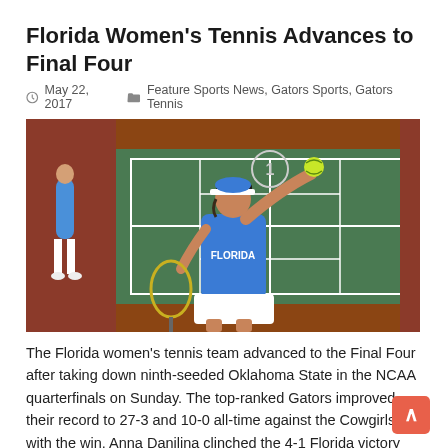Florida Women's Tennis Advances to Final Four
May 22, 2017   Feature Sports News, Gators Sports, Gators Tennis
[Figure (photo): A Florida Gators women's tennis player in a blue Florida jersey and white visor reaching up to toss a tennis ball for a serve on a red clay/hard court.]
The Florida women's tennis team advanced to the Final Four after taking down ninth-seeded Oklahoma State in the NCAA quarterfinals on Sunday. The top-ranked Gators improved their record to 27-3 and 10-0 all-time against the Cowgirls with the win. Anna Danilina clinched the 4-1 Florida victory with a 6-4, 6-4 win…